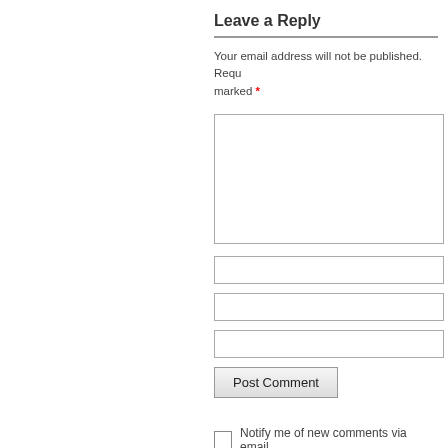Leave a Reply
Your email address will not be published. Required fields are marked *
[Figure (screenshot): Comment text area input box (empty)]
[Figure (screenshot): Name input field (empty)]
[Figure (screenshot): Email input field (empty)]
[Figure (screenshot): Website input field (empty)]
[Figure (screenshot): Post Comment button]
Notify me of new comments via email.
Notify me of new posts via email.
Tax-Free Exchange Can Erase Policy's Ta…